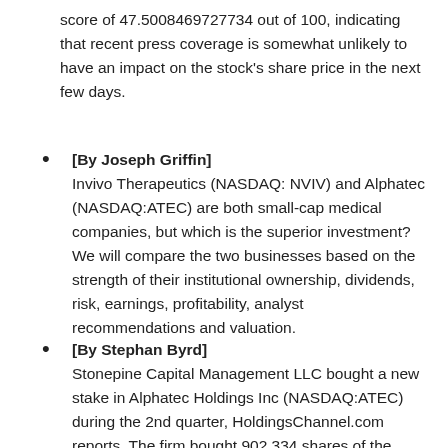score of 47.5008469727734 out of 100, indicating that recent press coverage is somewhat unlikely to have an impact on the stock's share price in the next few days.
[By Joseph Griffin] Invivo Therapeutics (NASDAQ: NVIV) and Alphatec (NASDAQ:ATEC) are both small-cap medical companies, but which is the superior investment? We will compare the two businesses based on the strength of their institutional ownership, dividends, risk, earnings, profitability, analyst recommendations and valuation.
[By Stephan Byrd] Stonepine Capital Management LLC bought a new stake in Alphatec Holdings Inc (NASDAQ:ATEC) during the 2nd quarter, HoldingsChannel.com reports. The firm bought 902,334 shares of the medical